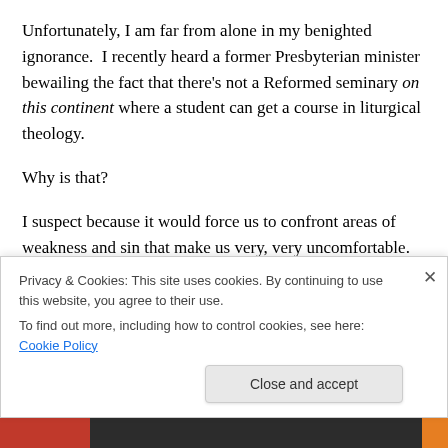Unfortunately, I am far from alone in my benighted ignorance.  I recently heard a former Presbyterian minister bewailing the fact that there's not a Reformed seminary on this continent where a student can get a course in liturgical theology.
Why is that?
I suspect because it would force us to confront areas of weakness and sin that make us very, very uncomfortable. The implicit theology of a church service from my tradition is heartily gnostic.  The focus of the service is on delivery...
Privacy & Cookies: This site uses cookies. By continuing to use this website, you agree to their use.
To find out more, including how to control cookies, see here: Cookie Policy
Close and accept